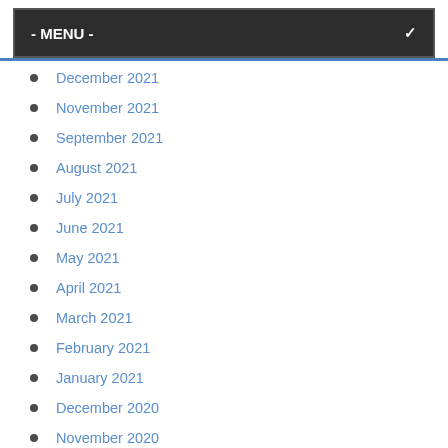- MENU -
December 2021
November 2021
September 2021
August 2021
July 2021
June 2021
May 2021
April 2021
March 2021
February 2021
January 2021
December 2020
November 2020
October 2020
September 2020
August 2020